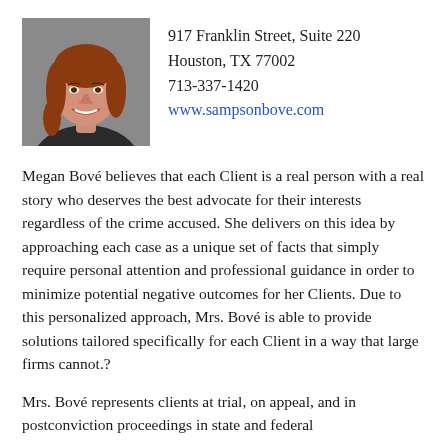[Figure (photo): Professional headshot of a woman with red hair wearing a dark blazer, smiling]
917 Franklin Street, Suite 220
Houston, TX 77002
713-337-1420
www.sampsonbove.com
Megan Bové believes that each Client is a real person with a real story who deserves the best advocate for their interests regardless of the crime accused. She delivers on this idea by approaching each case as a unique set of facts that simply require personal attention and professional guidance in order to minimize potential negative outcomes for her Clients. Due to this personalized approach, Mrs. Bové is able to provide solutions tailored specifically for each Client in a way that large firms cannot.?
Mrs. Bové represents clients at trial, on appeal, and in postconviction proceedings in state and federal